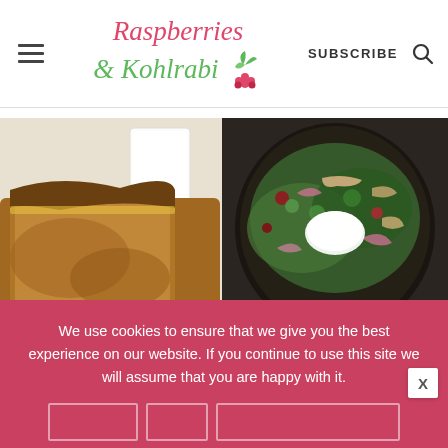Raspberries & Kohlrabi — SUBSCRIBE
[Figure (photo): Close-up of sliced brown bread/cake with a glass of milk in the background, warm tones]
[Figure (photo): Overhead view of a black bowl with salad topped with sour cream, shredded chicken, red onions, cilantro, and beans on a dark background]
We use cookies to ensure that we give you the best experience on our website. If you continue to use this site we will assume that you are happy with it.
[Figure (infographic): SHE Partner Network advertisement banner with person photo, bullet text '• Earning site & social revenue', SHE logo, and LEARN MORE button]